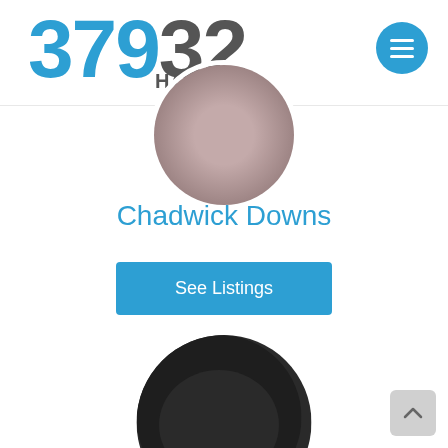37932 HOMES
[Figure (photo): Circular cropped photo showing a textured brownish-red surface, partially visible at top of page]
Chadwick Downs
See Listings
[Figure (photo): Circular cropped photo of a dark stone or bronze marker with letters 'HATA' visible]